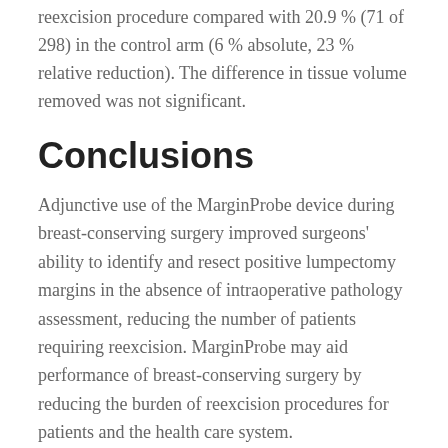reexcision procedure compared with 20.9 % (71 of 298) in the control arm (6 % absolute, 23 % relative reduction). The difference in tissue volume removed was not significant.
Conclusions
Adjunctive use of the MarginProbe device during breast-conserving surgery improved surgeons’ ability to identify and resect positive lumpectomy margins in the absence of intraoperative pathology assessment, reducing the number of patients requiring reexcision. MarginProbe may aid performance of breast-conserving surgery by reducing the burden of reexcision procedures for patients and the health care system.
Breast-conserving surgery (BCS) has been an established approach to surgery for early-stage breast cancer for more than 30 years.1Contemporary